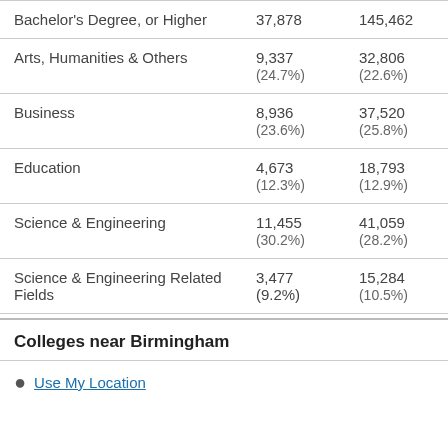|  | Col1 | Col2 |
| --- | --- | --- |
| Bachelor's Degree, or Higher | 37,878 | 145,462 |
| Arts, Humanities & Others | 9,337
(24.7%) | 32,806
(22.6%) |
| Business | 8,936
(23.6%) | 37,520
(25.8%) |
| Education | 4,673
(12.3%) | 18,793
(12.9%) |
| Science & Engineering | 11,455
(30.2%) | 41,059
(28.2%) |
| Science & Engineering Related Fields | 3,477 (9.2%) | 15,284
(10.5%) |
Colleges near Birmingham
Use My Location